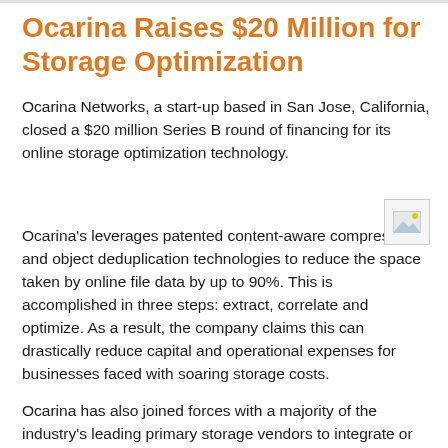Ocarina Raises $20 Million for Storage Optimization
Ocarina Networks, a start-up based in San Jose, California, closed a $20 million Series B round of financing for its online storage optimization technology.
[Figure (photo): Small broken image icon placeholder]
Ocarina's leverages patented content-aware compression and object deduplication technologies to reduce the space taken by online file data by up to 90%. This is accomplished in three steps: extract, correlate and optimize. As a result, the company claims this can drastically reduce capital and operational expenses for businesses faced with soaring storage costs.
Ocarina has also joined forces with a majority of the industry's leading primary storage vendors to integrate or co-market its solutions. These Ocarina-enabled solutions…